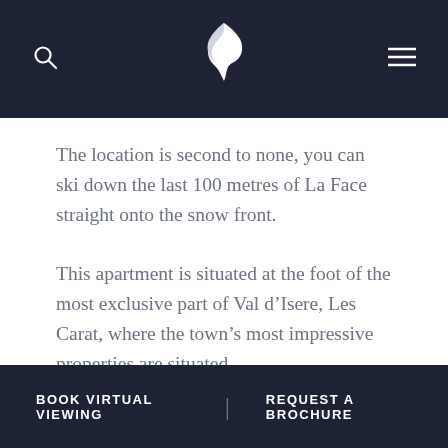[search icon] [eagle logo] [menu icon]
The location is second to none, you can ski down the last 100 metres of La Face straight onto the snow front.
This apartment is situated at the foot of the most exclusive part of Val d’Isere, Les Carat, where the town’s most impressive properties are situated.
The apartment has an elevated position
BOOK VIRTUAL VIEWING | REQUEST A BROCHURE